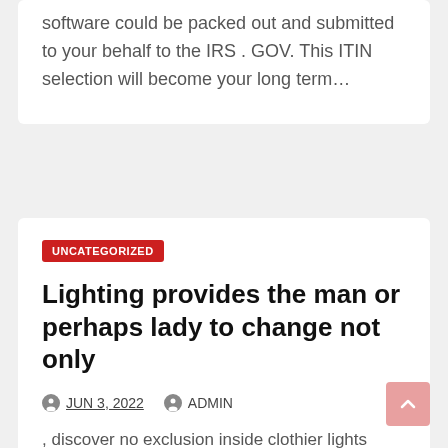software could be packed out and submitted to your behalf to the IRS . GOV. This ITIN selection will become your long term…
UNCATEGORIZED
Lighting provides the man or perhaps lady to change not only
JUN 3, 2022   ADMIN
, discover no exclusion inside clothier lights fittings too. There are appropriate many types and kinds involving this system offered within just the market